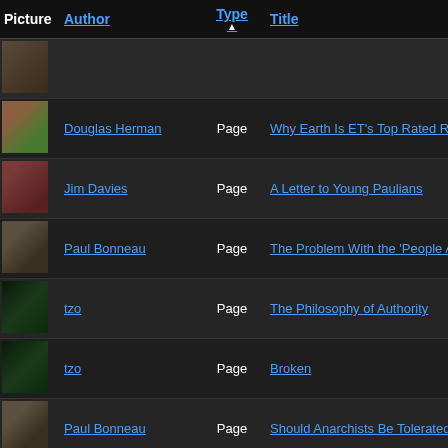| Picture | Author | Type | Title |
| --- | --- | --- | --- |
| [photo] |  |  |  |
| [photo] | Douglas Herman | Page | Why Earth Is ET's Top Rated Rea... |
| [photo] | Jim Davies | Page | A Letter to Young Paulians |
| [photo] | Paul Bonneau | Page | The Problem With the 'People Are... |
| [photo] | tzo | Page | The Philosophy of Authority |
| [photo] | tzo | Page | Broken |
| [photo] | Paul Bonneau | Page | Should Anarchists Be Tolerated? |
| [photo] | Bob Wallace | Page | Koros to Hubris to Ate to Nemesis... |